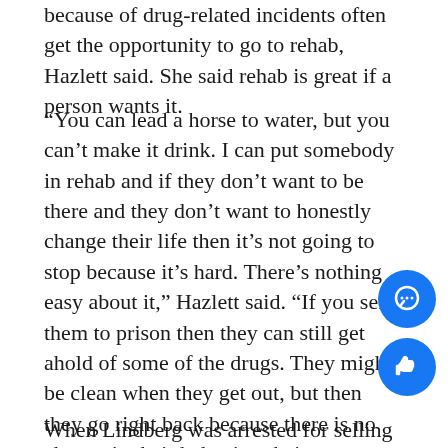because of drug-related incidents often get the opportunity to go to rehab, Hazlett said. She said rehab is great if a person wants it.
“You can lead a horse to water, but you can’t make it drink. I can put somebody in rehab and if they don’t want to be there and they don’t want to honestly change their life then it’s not going to stop because it’s hard. There’s nothing easy about it,” Hazlett said. “If you send them to prison then they can still get ahold of some of the drugs. They might be clean when they get out, but then they go right back because there is no change in their behavior, their circumstance and their associates. There’s just no change there so they might be clean when they go out but then they go right back to it.”
When Lindberg was arrested for selling drugs, it is